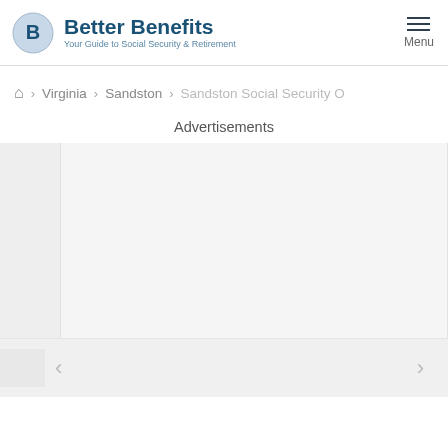Better Benefits — Your Guide to Social Security & Retirement
Home > Virginia > Sandston > Sandston Social Security O
Advertisements
[Figure (other): Advertisement carousel with navigation arrows, showing a large light gray placeholder ad block]
∨